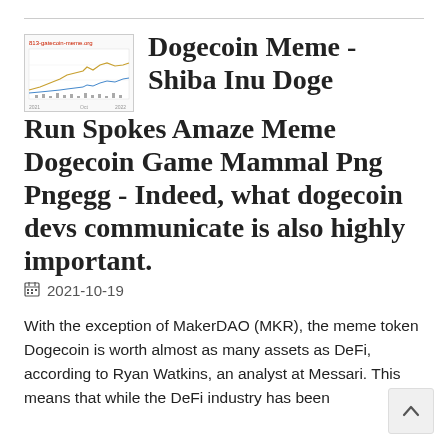[Figure (screenshot): Thumbnail image of a chart from 813-gatecoin-meme.org showing a financial line chart with gold/brown and blue lines on a white background with small text]
Dogecoin Meme - Shiba Inu Doge Run Spokes Amaze Meme Dogecoin Game Mammal Png Pngegg - Indeed, what dogecoin devs communicate is also highly important.
2021-10-19
With the exception of MakerDAO (MKR), the meme token Dogecoin is worth almost as many assets as DeFi, according to Ryan Watkins, an analyst at Messari. This means that while the DeFi industry has been